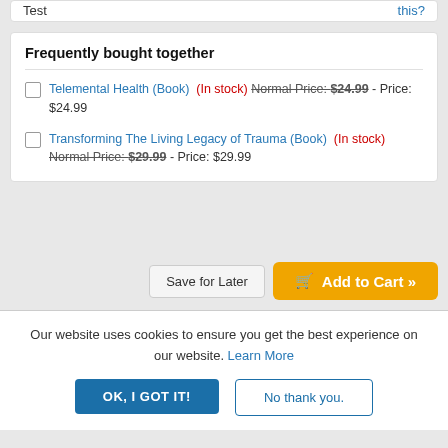Test    this?
Frequently bought together
Telemental Health (Book)  (In stock) Normal Price: $24.99 - Price: $24.99
Transforming The Living Legacy of Trauma (Book)  (In stock) Normal Price: $29.99 - Price: $29.99
Save for Later
Add to Cart »
Our website uses cookies to ensure you get the best experience on our website. Learn More
OK, I GOT IT!
No thank you.